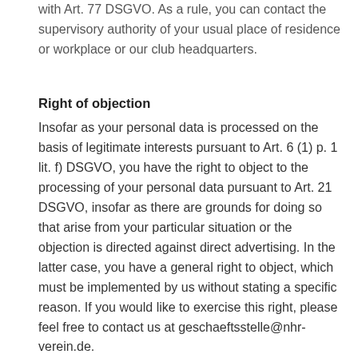with Art. 77 DSGVO. As a rule, you can contact the supervisory authority of your usual place of residence or workplace or our club headquarters.
Right of objection
Insofar as your personal data is processed on the basis of legitimate interests pursuant to Art. 6 (1) p. 1 lit. f) DSGVO, you have the right to object to the processing of your personal data pursuant to Art. 21 DSGVO, insofar as there are grounds for doing so that arise from your particular situation or the objection is directed against direct advertising. In the latter case, you have a general right to object, which must be implemented by us without stating a specific reason. If you would like to exercise this right, please feel free to contact us at geschaeftsstelle@nhr-verein.de.